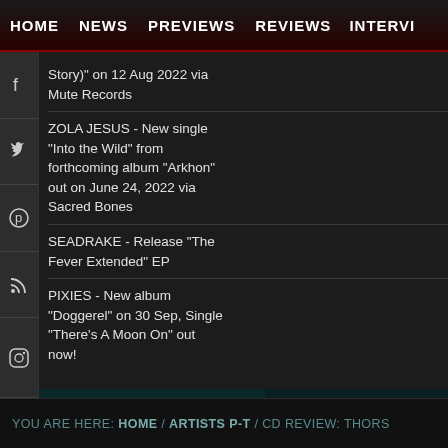HOME | NEWS | PREVIEWS | REVIEWS | INTERVI...
Day On (Based on a True Story)" on 12 Aug 2022 via Mute Records
ZOLA JESUS - New single "Into the Wild" from forthcoming album "Arkhon" out on June 24, 2022 via Sacred Bones
SEADRAKE - Release "The Fever Extended" EP
PIXIES - New album "Doggerel" on 30 Sep, Single "There's A Moon On" out now!
Related Articles
Add comment...
YOU ARE HERE: HOME / ARTISTS P-T / CD REVIEW: THORS...